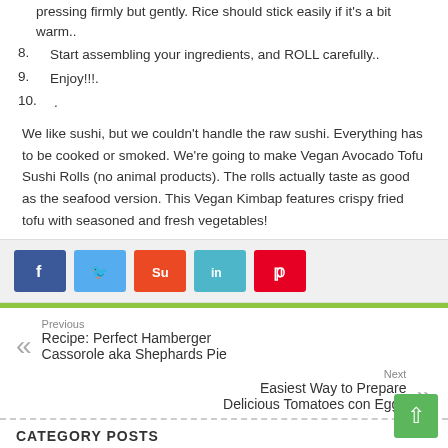pressing firmly but gently. Rice should stick easily if it's a bit warm..
8. Start assembling your ingredients, and ROLL carefully..
9. Enjoy!!!.
10. .
We like sushi, but we couldn't handle the raw sushi. Everything has to be cooked or smoked. We're going to make Vegan Avocado Tofu Sushi Rolls (no animal products). The rolls actually taste as good as the seafood version. This Vegan Kimbap features crispy fried tofu with seasoned and fresh vegetables!
Social share buttons: Facebook, Twitter, StumbleUpon, LinkedIn, Pinterest
Previous
Recipe: Perfect Hamberger Cassorole aka Shephards Pie
Next
Easiest Way to Prepare Delicious Tomatoes con Eggs
CATEGORY POSTS